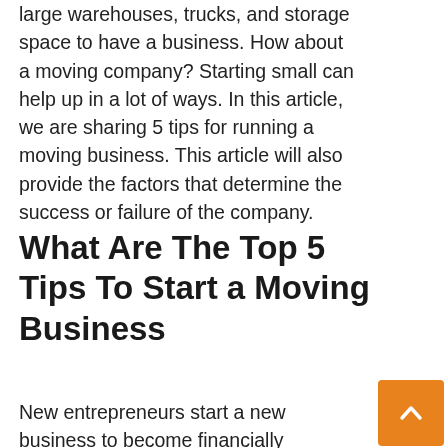large warehouses, trucks, and storage space to have a business. How about a moving company? Starting small can help up in a lot of ways. In this article, we are sharing 5 tips for running a moving business. This article will also provide the factors that determine the success or failure of the company.
What Are The Top 5 Tips To Start a Moving Business
New entrepreneurs start a new business to become financially independent. In today's world, creating a new business and running it successfully is the prominent skill